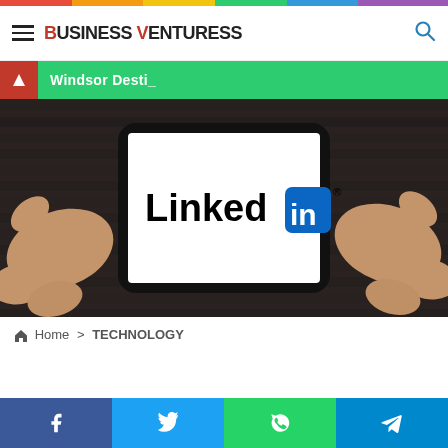Business Venturess
Windsor Desti_
[Figure (photo): Hands holding a smartphone displaying the LinkedIn logo on screen, dark background]
Home > TECHNOLOGY
Social share buttons: Facebook, Twitter, WhatsApp, Telegram